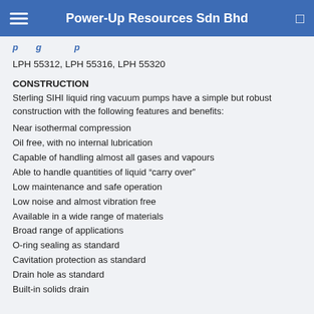Power-Up Resources Sdn Bhd
(partial heading — truncated at top)
LPH 55312, LPH 55316, LPH 55320
CONSTRUCTION
Sterling SIHI liquid ring vacuum pumps have a simple but robust construction with the following features and benefits:
Near isothermal compression
Oil free, with no internal lubrication
Capable of handling almost all gases and vapours
Able to handle quantities of liquid “carry over”
Low maintenance and safe operation
Low noise and almost vibration free
Available in a wide range of materials
Broad range of applications
O-ring sealing as standard
Cavitation protection as standard
Drain hole as standard
Built-in solids drain